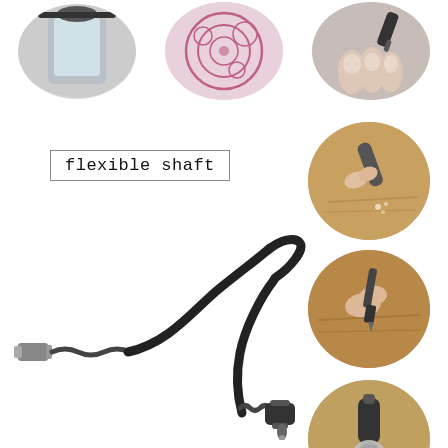[Figure (photo): Top row of three circular photos: left shows a face shield/tool, center shows circular pink art/craft design, right shows toenail/fingernail being worked on with a rotary tool.]
flexible shaft
[Figure (photo): A flexible shaft attachment for a rotary tool, black cable with metal connectors at both ends, laid out in a curved shape on a white background.]
[Figure (photo): Right column of three circular photos: top shows hand using rotary pen tool on wood, middle shows hand using rotary tool on wood surface, bottom shows rotary tool with disc sanding attachment on wood.]